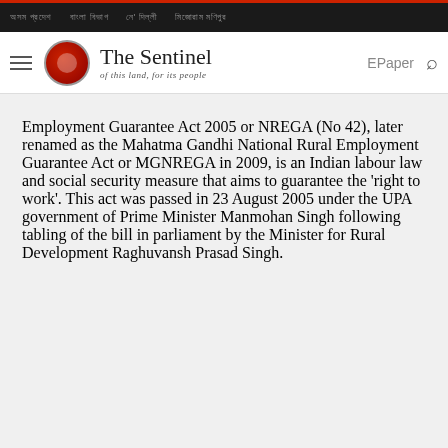The Sentinel - of this land, for its people
Employment Guarantee Act 2005 or NREGA (No 42), later renamed as the Mahatma Gandhi National Rural Employment Guarantee Act or MGNREGA in 2009, is an Indian labour law and social security measure that aims to guarantee the 'right to work'. This act was passed in 23 August 2005 under the UPA government of Prime Minister Manmohan Singh following tabling of the bill in parliament by the Minister for Rural Development Raghuvansh Prasad Singh.